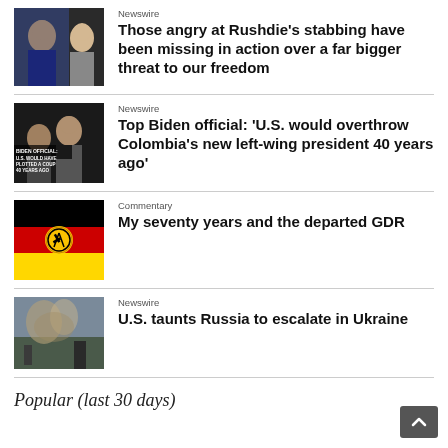[Figure (photo): Photo of a person, possibly Salman Rushdie, with another figure in background]
Newswire
Those angry at Rushdie's stabbing have been missing in action over a far bigger threat to our freedom
[Figure (screenshot): Dark video still with text overlay: BIDEN OFFICIAL: U.S. WOULD HAVE PLOTTED A COUP 40 YEARS AGO]
Newswire
Top Biden official: 'U.S. would overthrow Colombia's new left-wing president 40 years ago'
[Figure (photo): East German flag (GDR) - black, red, and yellow stripes with hammer and compass emblem]
Commentary
My seventy years and the departed GDR
[Figure (photo): War/conflict scene photo with smoke or fire]
Newswire
U.S. taunts Russia to escalate in Ukraine
Popular (last 30 days)